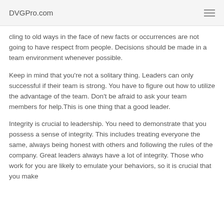DVGPro.com
cling to old ways in the face of new facts or occurrences are not going to have respect from people. Decisions should be made in a team environment whenever possible.
Keep in mind that you're not a solitary thing. Leaders can only successful if their team is strong. You have to figure out how to utilize the advantage of the team. Don't be afraid to ask your team members for help.This is one thing that a good leader.
Integrity is crucial to leadership. You need to demonstrate that you possess a sense of integrity. This includes treating everyone the same, always being honest with others and following the rules of the company. Great leaders always have a lot of integrity. Those who work for you are likely to emulate your behaviors, so it is crucial that you make